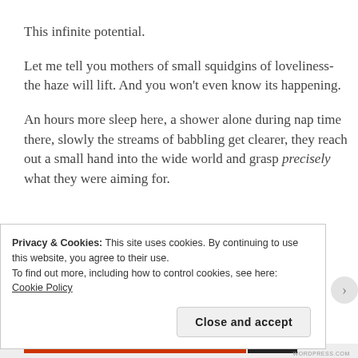This infinite potential.
Let me tell you mothers of small squidgins of loveliness- the haze will lift. And you won't even know its happening.
An hours more sleep here, a shower alone during nap time there, slowly the streams of babbling get clearer, they reach out a small hand into the wide world and grasp precisely what they were aiming for.
Privacy & Cookies: This site uses cookies. By continuing to use this website, you agree to their use.
To find out more, including how to control cookies, see here: Cookie Policy
Close and accept